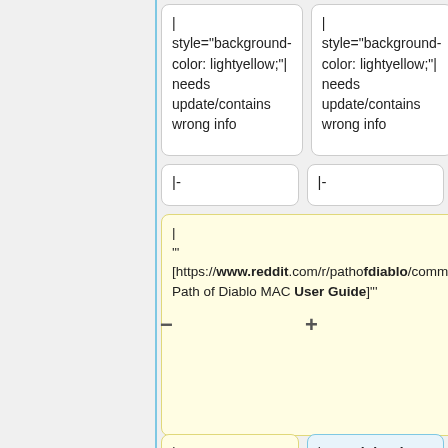| style="background-color: lightyellow;"| needs update/contains wrong info
| style="background-color: lightyellow;"| needs update/contains wrong info
|-
|-
| '"[https://www.reddit.com/r/pathofdiablo/comments/cn1m38/2019_update_play_pod_on_mac_noob_guide// Path of Diablo MAC User Guide]"'
| '"[https://github.com/BaReinhard/pod-installer-utils Path of Diablo MAC Unofficial Installation]"'
| mealprepcalculator
| BaReinhard + others